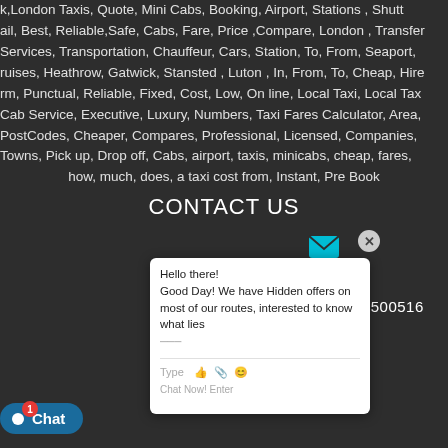k, London Taxis, Quote, Mini Cabs, Booking, Airport, Stations, Shuttle, ail, Best, Reliable, Safe, Cabs, Fare, Price, Compare, London, Transfer, Services, Transportation, Chauffeur, Cars, Station, To, From, Seaport, ruises, Heathrow, Gatwick, Stansted, Luton, In, From, To, Cheap, Hire, rm, Punctual, Reliable, Fixed, Cost, Low, On line, Local Taxi, Local Taxi, Cab Service, Executive, Luxury, Numbers, Taxi Fares Calculator, Area, PostCodes, Cheaper, Compares, Professional, Licensed, Companies, Towns, Pick up, Drop off, Cabs, airport, taxis, minicabs, cheap, fares, how, much, does, a taxi cost from, Instant, Pre Book
CONTACT US
[Figure (screenshot): Chat popup widget showing 'Hello there! Good Day! We have Hidden offers on most of our routes, interested to know what lies...' with type bar and emoji icons at the bottom]
+44 03303500516
[Figure (infographic): Contact icons: envelope, phone, home icons in cyan/teal color]